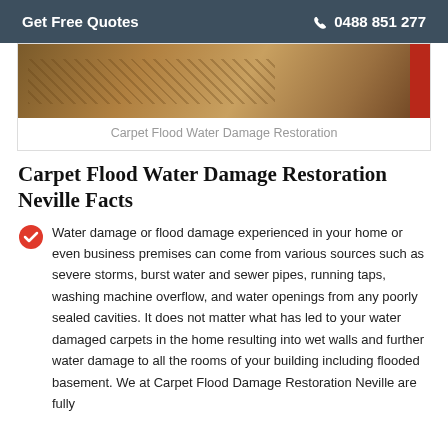Get Free Quotes   ☎ 0488 851 277
[Figure (photo): Photo of water-damaged carpet, brownish texture with a red element on the right side]
Carpet Flood Water Damage Restoration
Carpet Flood Water Damage Restoration Neville Facts
Water damage or flood damage experienced in your home or even business premises can come from various sources such as severe storms, burst water and sewer pipes, running taps, washing machine overflow, and water openings from any poorly sealed cavities. It does not matter what has led to your water damaged carpets in the home resulting into wet walls and further water damage to all the rooms of your building including flooded basement. We at Carpet Flood Damage Restoration Neville are fully